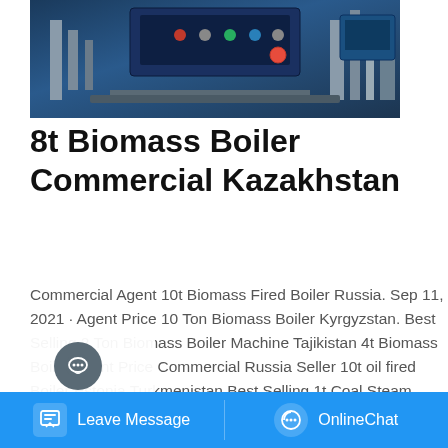[Figure (photo): Industrial biomass boiler equipment with control panel showing buttons and switches, pipes and mechanical components visible]
8t Biomass Boiler Commercial Kazakhstan
Commercial Agent 10t Biomass Fired Boiler Russia. Sep 11, 2021 · Agent Price 10 Ton Biomass Boiler Kyrgyzstan. Best Selling 2 Ton Biomass Boiler Machine Tajikistan 4t Biomass Boiler Agent Price Commercial Russia Seller 10t oil fired Boiler Estonia Turkmenistan Best Selling 1t Coal Steam Boiler Estonia 20 Ton Diesel Boiler Plant Energy Saving Lithuania Price 20 Ton .
[Figure (screenshot): Website UI overlay showing Chat, Email, and Contact icons on left sidebar, Get a Quote button, WhatsApp stickers bar, and Leave Message / OnlineChat bottom navigation bar]